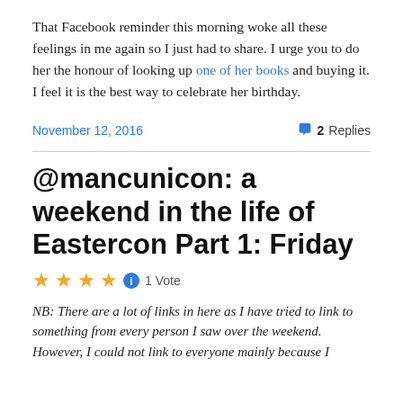That Facebook reminder this morning woke all these feelings in me again so I just had to share. I urge you to do her the honour of looking up one of her books and buying it. I feel it is the best way to celebrate her birthday.
November 12, 2016    2 Replies
@mancunicon: a weekend in the life of Eastercon Part 1: Friday
★★★★ 1 Vote
NB: There are a lot of links in here as I have tried to link to something from every person I saw over the weekend. However, I could not link to everyone mainly because I